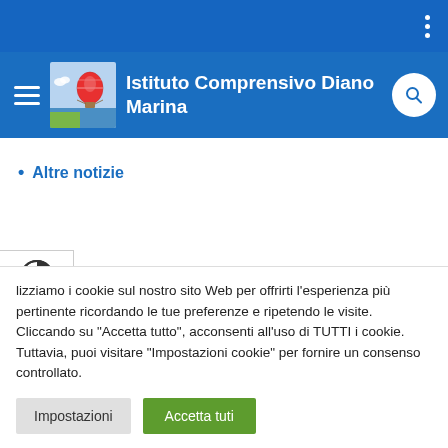Istituto Comprensivo Diano Marina
Altre notizie
ebbraio 2022
lizziamo i cookie sul nostro sito Web per offrirti l'esperienza più pertinente ricordando le tue preferenze e ripetendo le visite. Cliccando su "Accetta tutto", acconsenti all'uso di TUTTI i cookie. Tuttavia, puoi visitare "Impostazioni cookie" per fornire un consenso controllato.
Impostazioni
Accetta tuti